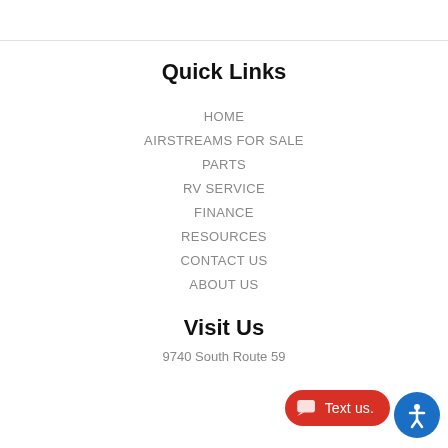Quick Links
HOME
AIRSTREAMS FOR SALE
PARTS
RV SERVICE
FINANCE
RESOURCES
CONTACT US
ABOUT US
Visit Us
9740 South Route 59